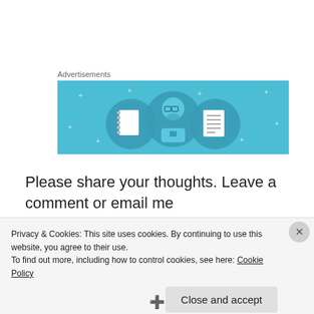Advertisements
[Figure (illustration): Advertisement banner with light blue background showing three circular icons: a notebook, a person with glasses, and a list/document icon]
Please share your thoughts. Leave a comment or email me freedomfarmtv@gmail.com
Privacy & Cookies: This site uses cookies. By continuing to use this website, you agree to their use.
To find out more, including how to control cookies, see here: Cookie Policy
Close and accept